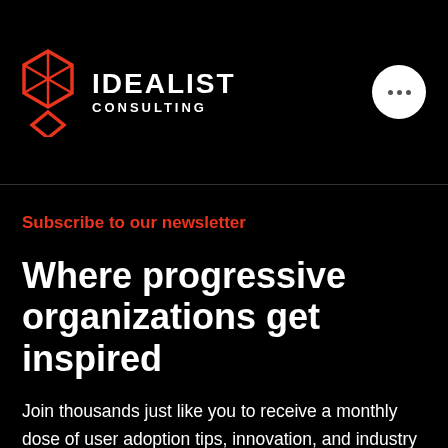IDEALIST CONSULTING
Subscribe to our newsletter
Where progressive organizations get inspired
Join thousands just like you to receive a monthly dose of user adoption tips, innovation, and industry trends.